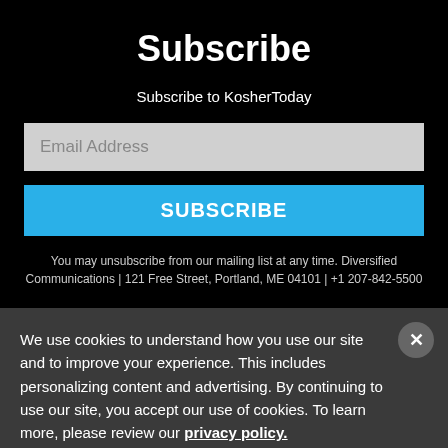Subscribe
Subscribe to KosherToday
Email Address
SUBSCRIBE
You may unsubscribe from our mailing list at any time. Diversified Communications | 121 Free Street, Portland, ME 04101 | +1 207-842-5500
We use cookies to understand how you use our site and to improve your experience. This includes personalizing content and advertising. By continuing to use our site, you accept our use of cookies. To learn more, please review our privacy policy.
Accept Cookies